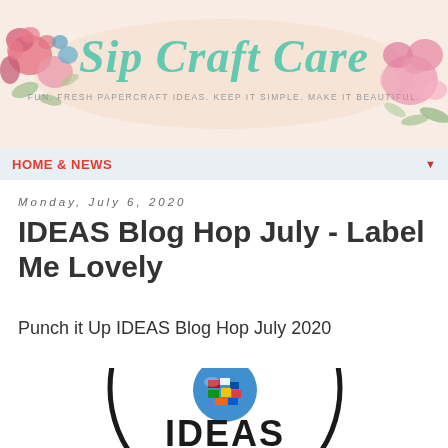[Figure (illustration): Sip Craft Care blog banner with floral decorations and cursive script text reading 'Sip Craft Care' with subtitle 'Fun, Fresh Papercraft Ideas. Keep it Simple, Make it Beautiful.']
HOME & NEWS
Monday, July 6, 2020
IDEAS Blog Hop July - Label Me Lovely
Punch it Up IDEAS Blog Hop July 2020
[Figure (logo): IDEAS Blog Hop circular logo with globe featuring international flags, showing partial text 'IDEAS' at the bottom]